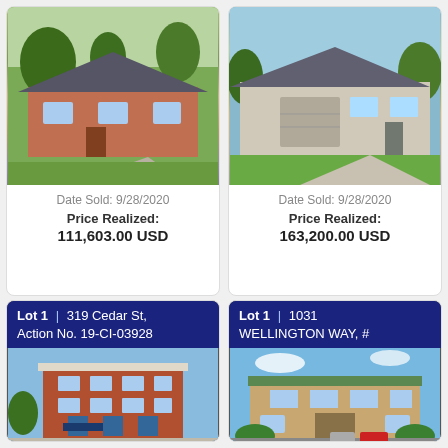[Figure (photo): Photo of a single-story brick ranch house with trees and driveway]
Date Sold: 9/28/2020
Price Realized:
111,603.00 USD
[Figure (photo): Photo of a single-story house with garage and green lawn]
Date Sold: 9/28/2020
Price Realized:
163,200.00 USD
Lot 1 | 319 Cedar St, Action No. 19-CI-03928
[Figure (photo): Photo of a multi-story red brick commercial building]
Lot 1 | 1031 WELLINGTON WAY, #
[Figure (photo): Photo of a two-story brick office building with parking lot]